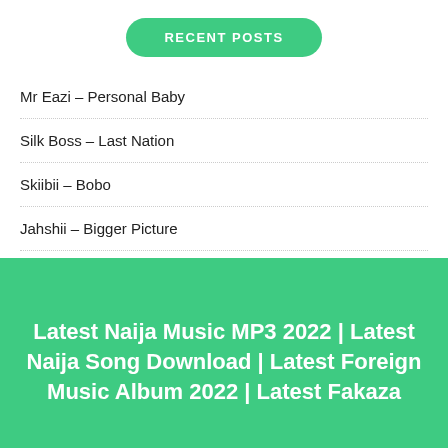RECENT POSTS
Mr Eazi – Personal Baby
Silk Boss – Last Nation
Skiibii – Bobo
Jahshii – Bigger Picture
Now United – Like Me
Latest Naija Music MP3 2022 | Latest Naija Song Download | Latest Foreign Music Album 2022 | Latest Fakaza